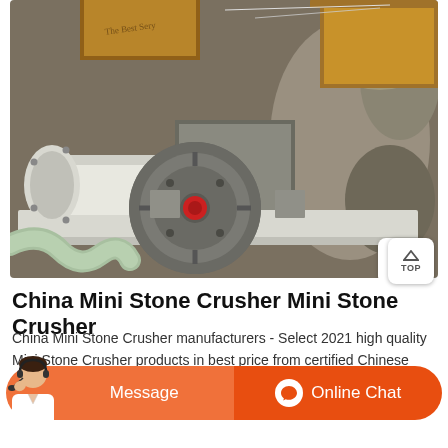[Figure (photo): Photo of a mini stone crusher machine with metal flywheel, motor, and feed hopper, with gravel/rocks visible in the background and wooden structures.]
China Mini Stone Crusher Mini Stone Crusher
China Mini Stone Crusher manufacturers - Select 2021 high quality Mini Stone Crusher products in best price from certified Chinese Wood Crusher, Mining Equipment suppliers, wholesalers and factory on Made-in-China.com